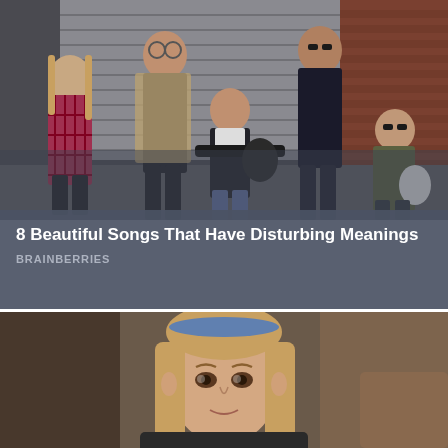[Figure (photo): Five male musicians posing in front of a brick wall and metal shutter. One in the center holds an electric guitar. They are dressed casually. This appears to be the Eagles band.]
8 Beautiful Songs That Have Disturbing Meanings
BRAINBERRIES
[Figure (photo): A young girl with long blonde hair and a blue headband looking slightly upward, appearing in what seems to be a TV show or movie still.]